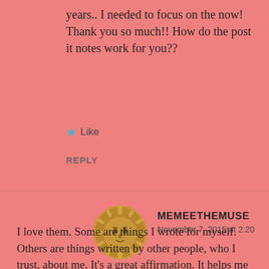years.. I needed to focus on the now! Thank you so much!! How do the post it notes work for you??
★ Like
REPLY
[Figure (photo): Circular avatar image of a golden sun face sculpture]
MEMEETHEMUSE
November 7, 2015 at 2:20
I love them. Some are things I wrote for myself. Others are things written by other people, who I trust, about me. It's a great affirmation. It helps me to recognize that I am so much more than my illness but also